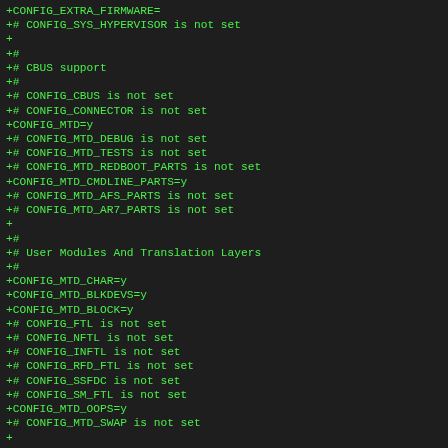+CONFIG_EXTRA_FIRMWARE=
+# CONFIG_SYS_HYPERVISOR is not set
+
+#
+# CBUS support
+#
+# CONFIG_CBUS is not set
+# CONFIG_CONNECTOR is not set
+CONFIG_MTD=y
+# CONFIG_MTD_DEBUG is not set
+# CONFIG_MTD_TESTS is not set
+# CONFIG_MTD_REDBOOT_PARTS is not set
+CONFIG_MTD_CMDLINE_PARTS=y
+# CONFIG_MTD_AFS_PARTS is not set
+# CONFIG_MTD_AR7_PARTS is not set
+
+#
+# User Modules And Translation Layers
+#
+CONFIG_MTD_CHAR=y
+CONFIG_MTD_BLKDEVS=y
+CONFIG_MTD_BLOCK=y
+# CONFIG_FTL is not set
+# CONFIG_NFTL is not set
+# CONFIG_INFTL is not set
+# CONFIG_RFD_FTL is not set
+# CONFIG_SSFDC is not set
+# CONFIG_SM_FTL is not set
+CONFIG_MTD_OOPS=y
+# CONFIG_MTD_SWAP is not set
+
+#
+# RAM/ROM/Flash chip drivers